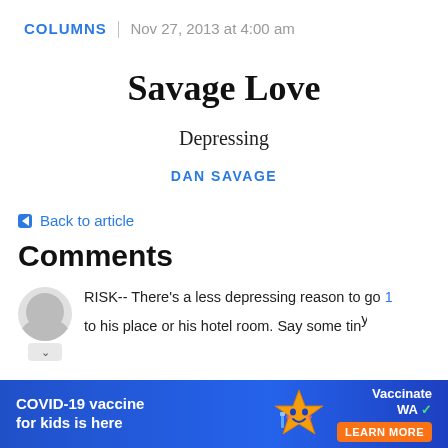COLUMNS | Nov 27, 2013 at 4:00 am
Savage Love
Depressing
DAN SAVAGE
← Back to article
Comments
RISK-- There's a less depressing reason to go 1 to his place or his hotel room. Say some tiny
[Figure (infographic): COVID-19 vaccine advertisement banner: 'COVID-19 vaccine for kids is here' with vaccine mascot star character, 'Vaccinate WA' branding and 'LEARN MORE' button]